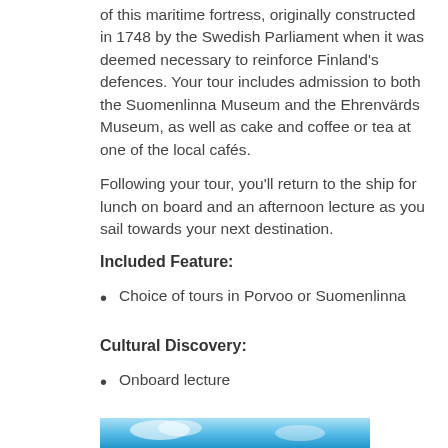of this maritime fortress, originally constructed in 1748 by the Swedish Parliament when it was deemed necessary to reinforce Finland's defences. Your tour includes admission to both the Suomenlinna Museum and the Ehrenvärds Museum, as well as cake and coffee or tea at one of the local cafés.
Following your tour, you'll return to the ship for lunch on board and an afternoon lecture as you sail towards your next destination.
Included Feature:
Choice of tours in Porvoo or Suomenlinna
Cultural Discovery:
Onboard lecture
Included meals: Breakfast, lunch & dinner
Ocean Odyssey >
[Figure (photo): Partial view of a blue sky/ocean horizon image at the bottom of the page]